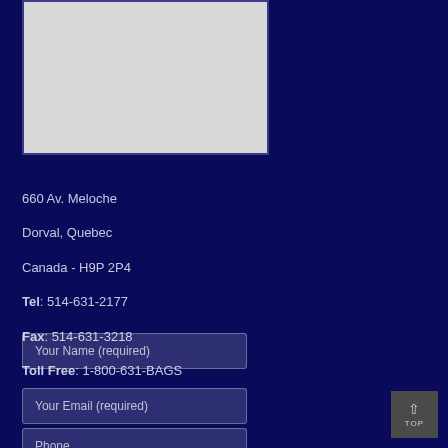[Figure (map): A light grey map placeholder/embedded map area with a dark navy border]
660 Av. Meloche
Dorval, Quebec
Canada - H9P 2P4
Tel: 514-631-2177
Fax: 514-631-3218
Toll Free: 1-800-631-BAGS
Your Name (required)
Your Email (required)
Phone